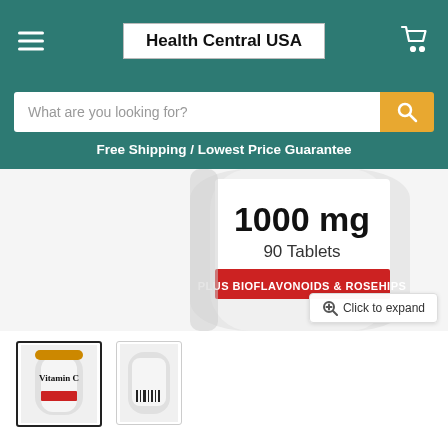Health Central USA
What are you looking for?
Free Shipping / Lowest Price Guarantee
[Figure (photo): Close-up of a Vitamin C supplement bottle label showing '1000 mg', '90 Tablets', and 'PLUS BIOFLAVONOIDS & ROSEHIPS' on a red band]
[Figure (photo): Small thumbnail of the Vitamin C bottle front label]
[Figure (photo): Small thumbnail of the Vitamin C bottle back label with barcode]
Natural Factors, Vitamin C, Plus Bioflavonoids & Rosehips, 1,000